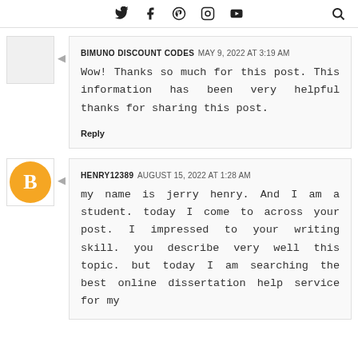Twitter Facebook Pinterest Instagram YouTube [Search]
BIMUNO DISCOUNT CODES  MAY 9, 2022 AT 3:19 AM

Wow! Thanks so much for this post. This information has been very helpful thanks for sharing this post.

Reply
HENRY12389  AUGUST 15, 2022 AT 1:28 AM

my name is jerry henry. And I am a student. today I come to across your post. I impressed to your writing skill. you describe very well this topic. but today I am searching the best online dissertation help service for my